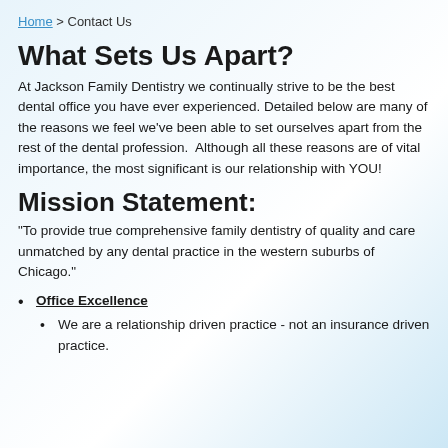Home > Contact Us
What Sets Us Apart?
At Jackson Family Dentistry we continually strive to be the best dental office you have ever experienced. Detailed below are many of the reasons we feel we've been able to set ourselves apart from the rest of the dental profession.  Although all these reasons are of vital importance, the most significant is our relationship with YOU!
Mission Statement:
"To provide true comprehensive family dentistry of quality and care unmatched by any dental practice in the western suburbs of Chicago."
Office Excellence
We are a relationship driven practice - not an insurance driven practice.